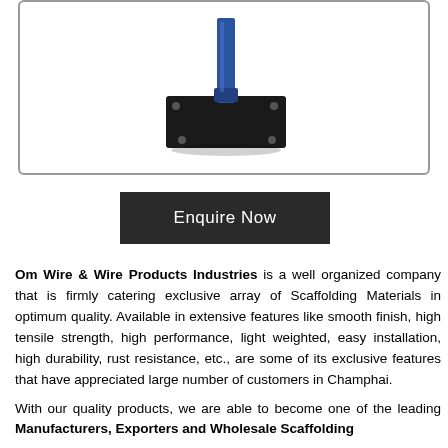[Figure (photo): Product photo of a scaffolding base plate / screw jack base with a blue vertical pole on a black rectangular metal plate with bolt holes at corners, displayed inside a rounded-corner bordered box.]
Enquire Now
Om Wire & Wire Products Industries is a well organized company that is firmly catering exclusive array of Scaffolding Materials in optimum quality. Available in extensive features like smooth finish, high tensile strength, high performance, light weighted, easy installation, high durability, rust resistance, etc., are some of its exclusive features that have appreciated large number of customers in Champhai.
With our quality products, we are able to become one of the leading Manufacturers, Exporters and Wholesale Scaffolding